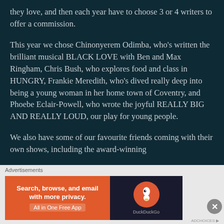they love, and then each year have to choose 3 or 4 writers to offer a commission.
This year we chose Chinonyerem Odimba, who's written the brilliant musical BLACK LOVE with Ben and Max Ringham, Chris Bush, who explores food and class in HUNGRY, Frankie Meredith, who's dived really deep into being a young woman in her home town of Coventry, and Phoebe Eclair-Powell, who wrote the joyful REALLY BIG AND REALLY LOUD, our play for young people.
We also have some of our favourite friends coming with their own shows, including the award-winning
Advertisements
[Figure (infographic): DuckDuckGo advertisement banner: orange section with text 'Search, browse, and email with more privacy. All in One Free App', dark section with DuckDuckGo logo]